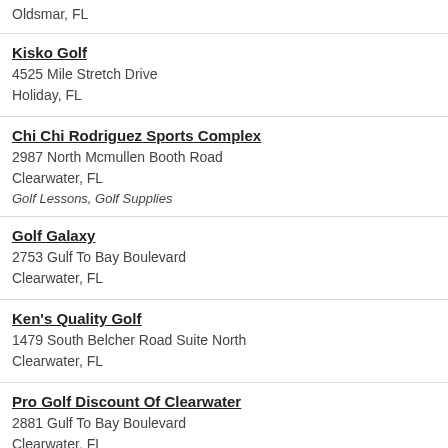Oldsmar, FL
Kisko Golf
4525 Mile Stretch Drive
Holiday, FL
Chi Chi Rodriguez Sports Complex
2987 North Mcmullen Booth Road
Clearwater, FL
Golf Lessons, Golf Supplies
Golf Galaxy
2753 Gulf To Bay Boulevard
Clearwater, FL
Ken's Quality Golf
1479 South Belcher Road Suite North
Clearwater, FL
Pro Golf Discount Of Clearwater
2881 Gulf To Bay Boulevard
Clearwater, FL